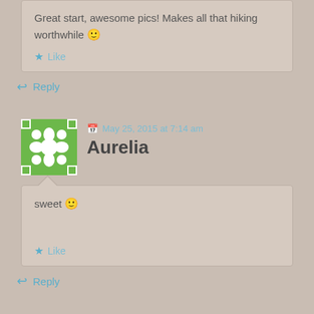Great start, awesome pics! Makes all that hiking worthwhile 🙂
★ Like
↩ Reply
May 25, 2015 at 7:14 am
Aurelia
sweet 🙂
★ Like
↩ Reply